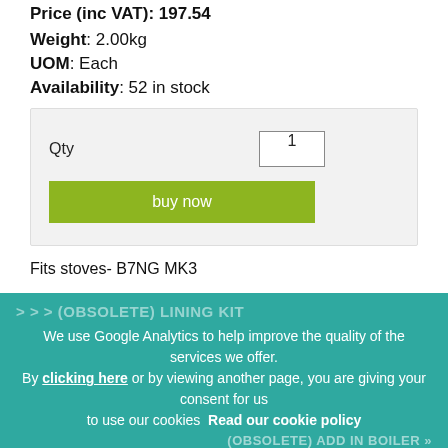Price (inc VAT): 197.54
Weight: 2.00kg
UOM: Each
Availability: 52 in stock
Qty  1  buy now
Fits stoves- B7NG MK3
In the UK it is required by law that all gas parts are fitted by a Gas Safe Registered fitter.
> > > (OBSOLETE) LINING KIT
We use Google Analytics to help improve the quality of the services we offer. By clicking here or by viewing another page, you are giving your consent for us to use our cookies Read our cookie policy
(OBSOLETE) ADD IN BOILER »